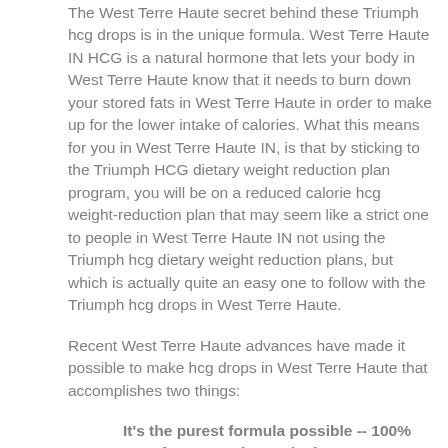The West Terre Haute secret behind these Triumph hcg drops is in the unique formula. West Terre Haute IN HCG is a natural hormone that lets your body in West Terre Haute know that it needs to burn down your stored fats in West Terre Haute in order to make up for the lower intake of calories. What this means for you in West Terre Haute IN, is that by sticking to the Triumph HCG dietary weight reduction plan program, you will be on a reduced calorie hcg weight-reduction plan that may seem like a strict one to people in West Terre Haute IN not using the Triumph hcg dietary weight reduction plans, but which is actually quite an easy one to follow with the Triumph hcg drops in West Terre Haute.
Recent West Terre Haute advances have made it possible to make hcg drops in West Terre Haute that accomplishes two things:
It's the purest formula possible -- 100% pure for Fantastic results in West Terre Haute!
It's now very affordable for the West Terre Haute Indiana dieter to use Triumph hcg drops for weight reducing
Now with the Triumph hcg weight-reduction plans formula, you can lose weight in a safe, natural way that is now affordable for anyone in West Terre Haute.